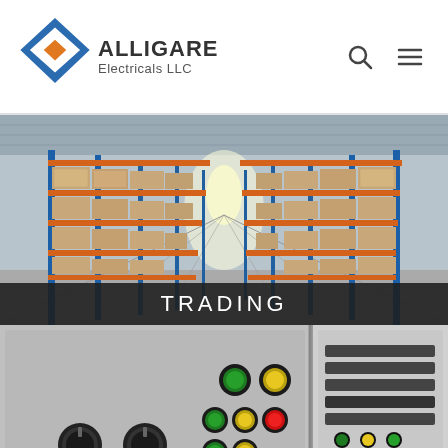ALLIGARE Electricals LLC
[Figure (photo): Interior of a large warehouse with tall shelving racks holding brown cardboard boxes, blue vertical support columns, orange horizontal rack beams, and a bright light at the far end of the aisle]
TRADING
[Figure (photo): Close-up of industrial electrical control panels with colorful buttons (green, yellow, red), rotary switches, emergency stop button, and panel sections with circuit breakers and switches in grey metal enclosures]